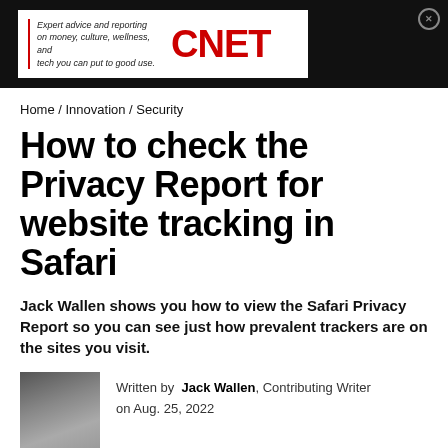[Figure (logo): CNET advertisement banner with text: Expert advice and reporting on money, culture, wellness, and tech you can put to good use. CNET logo in red.]
Home / Innovation / Security
How to check the Privacy Report for website tracking in Safari
Jack Wallen shows you how to view the Safari Privacy Report so you can see just how prevalent trackers are on the sites you visit.
[Figure (photo): Black and white photo of Jack Wallen, a man wearing glasses and a hat.]
Written by Jack Wallen, Contributing Writer on Aug. 25, 2022